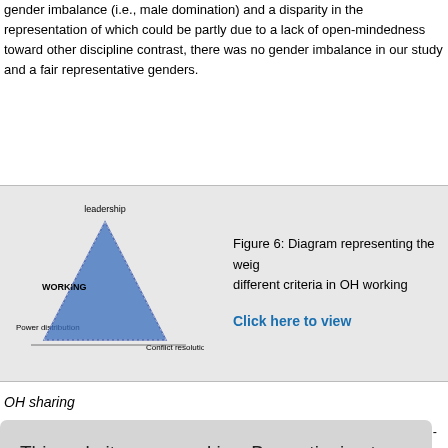gender imbalance (i.e., male domination) and a disparity in the representation of which could be partly due to a lack of open-mindedness toward other disciplines. In contrast, there was no gender imbalance in our study and a fair representative of all genders.
[Figure (other): Radar/triangle diagram representing the weights of different criteria in OH working, with axes labeled Leadership, Power distribution, and Conflict resolution. The triangle is filled with blue.]
Figure 6: Diagram representing the weights of different criteria in OH working
Click here to view
OH sharing
This website uses cookies. By continuing to use this website you are giving consent to cookies being used. For information on cookies and how you can disable them visit our Privacy and Cookie Policy. AGREE & PROCEED
l-studies[22] aring infrast uring of data ce to change aring is sho o official me reports an occurred as ods are sha e these pro data resulting
production. Compliance with confidentiality and data protection issues need to be